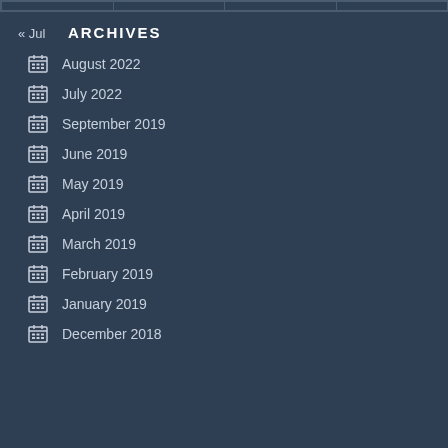|  |  |  |  |
« Jul
ARCHIVES
August 2022
July 2022
September 2019
June 2019
May 2019
April 2019
March 2019
February 2019
January 2019
December 2018